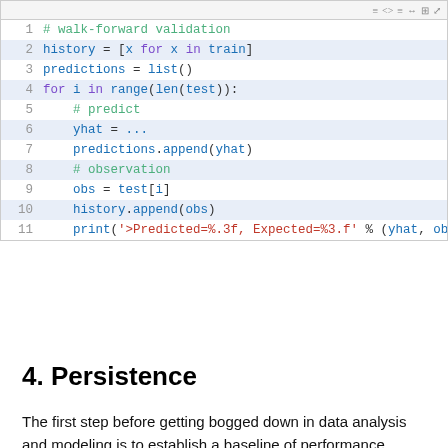[Figure (screenshot): Code block showing Python walk-forward validation snippet with syntax highlighting, lines 1-11]
4. Persistence
The first step before getting bogged down in data analysis and modeling is to establish a baseline of performance.
This will provide both a template for evaluating models using the proposed test harness and a performance measure by